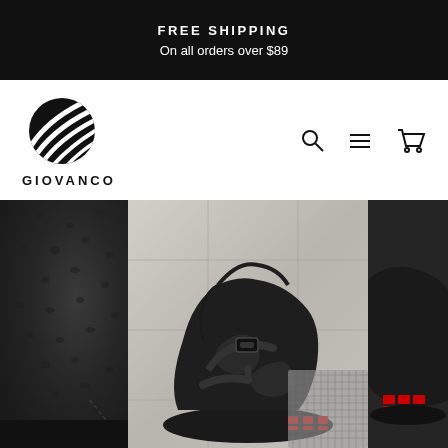FREE SHIPPING
On all orders over $89
[Figure (logo): Giovanco brand logo: circular emblem with diagonal lines/waves, with brand name GIOVANCO below]
[Figure (photo): Three-panel product photo showing black leather sandals/shoes with red sole accents against a light stone tile background. Left panel shows close-up leather texture, center panel shows full sandal view, right panel shows partial shoe view.]